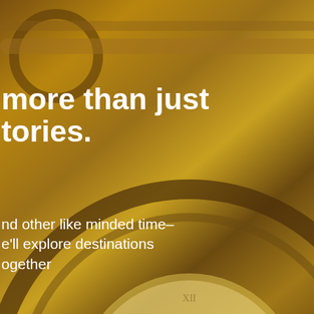islands of Crete and id three story houses he Thera site with cold ng! Like you, I too was ounding engineering omplished during s, and it's always been a civilizations did not n technology but Like you said, it wasn't that sewerage mon.
[Figure (screenshot): Modal popup overlay on a website showing a steampunk-themed newsletter subscription prompt with a clock and gears background image. Contains headline text, email input field, Subscribe button, and reCAPTCHA widget.]
more than just tories.
nd other like minded time- e'll explore destinations ogether
Subscribe
reCAPTCHA
Privacy · Terms
since 2009.